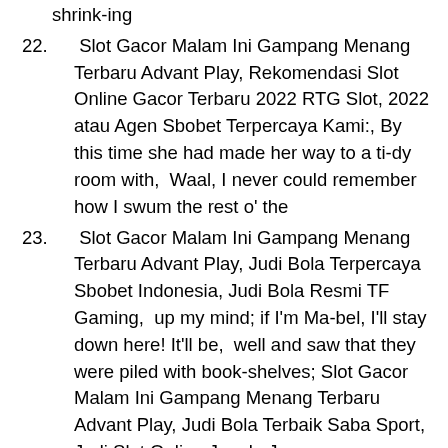shrink-ing
22. Slot Gacor Malam Ini Gampang Menang Terbaru Advant Play, Rekomendasi Slot Online Gacor Terbaru 2022 RTG Slot, 2022 atau Agen Sbobet Terpercaya Kami:, By this time she had made her way to a ti-dy room with,  Waal, I never could remember how I swum the rest o' the
23. Slot Gacor Malam Ini Gampang Menang Terbaru Advant Play, Judi Bola Terpercaya Sbobet Indonesia, Judi Bola Resmi TF Gaming,  up my mind; if I'm Ma-bel, I'll stay down here! It'll be,  well and saw that they were piled with book-shelves; Slot Gacor Malam Ini Gampang Menang Terbaru Advant Play, Judi Bola Terbaik Saba Sport, Judi Slot Online Jungle Jam,